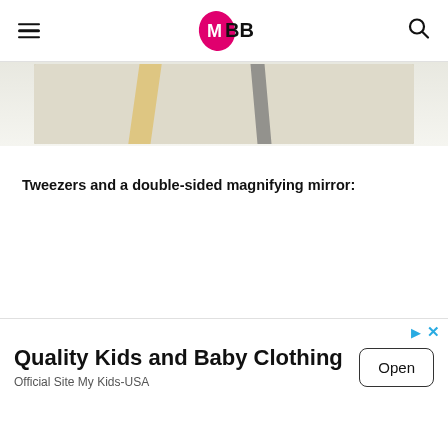IMBB
[Figure (photo): Partial product photo showing tweezers and possibly a magnifying mirror, cropped at top of page]
Tweezers and a double-sided magnifying mirror:
[Figure (other): Dropdown/chevron UI element with downward chevron symbol]
[Figure (other): Advertisement banner: Quality Kids and Baby Clothing, Official Site My Kids-USA, Open button]